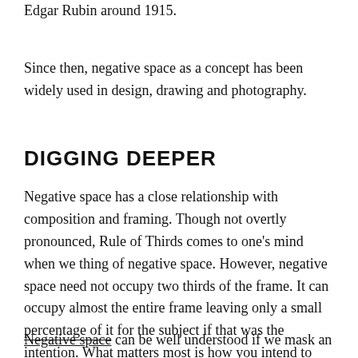Edgar Rubin around 1915.
Since then, negative space as a concept has been widely used in design, drawing and photography.
DIGGING DEEPER
Negative space has a close relationship with composition and framing. Though not overtly pronounced, Rule of Thirds comes to one's mind when we thing of negative space. However, negative space need not occupy two thirds of the frame. It can occupy almost the entire frame leaving only a small percentage of it for the subject if that was the intention. What matters most is how you intend to use the negative space to your advantage.
Negative space can be well understood if we mask an